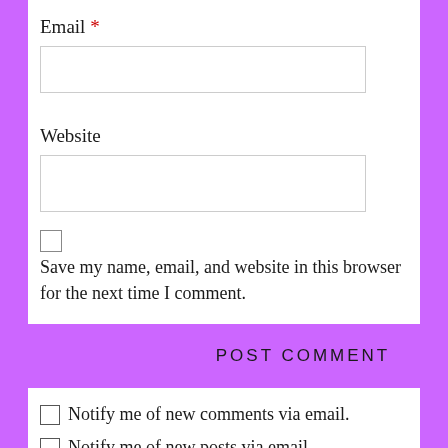Email *
Website
Save my name, email, and website in this browser for the next time I comment.
POST COMMENT
Notify me of new comments via email.
Notify me of new posts via email.